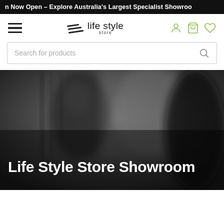n Now Open – Explore Australia's Largest Specialist Showroo
[Figure (logo): Life Style Store logo with diagonal lines and text]
Search for products
[Figure (photo): Black and white blurred photo of a person in a showroom with overlay text 'Life Style Store Showroom']
Life Style Store Showroom